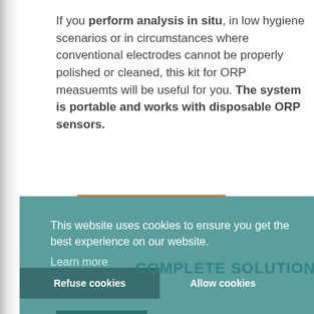If you perform analysis in situ, in low hygiene scenarios or in circumstances where conventional electrodes cannot be properly polished or cleaned, this kit for ORP measuemts will be useful for you. The system is portable and works with disposable ORP sensors.
FIND OUT MORE
This website uses cookies to ensure you get the best experience on our website. Learn more
COMPLETE SOLUTION
Refuse cookies
Allow cookies